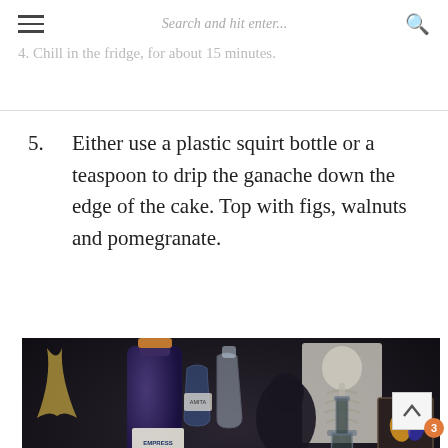Search and hit enter...
4. Chill in the fridge, for about 15 minutes.
5. Either use a plastic squirt bottle or a teaspoon to drip the ganache down the edge of the cake. Top with figs, walnuts and pomegranate.
[Figure (photo): A pink cocktail in a cut crystal glass held by a skeletal hand, surrounded by a dark moody bar setup with an Empress 1908 gin bottle, crystal decanters, a glass beaker with teal liquid, framed butterfly specimens, and a skeleton torso artwork in the background.]